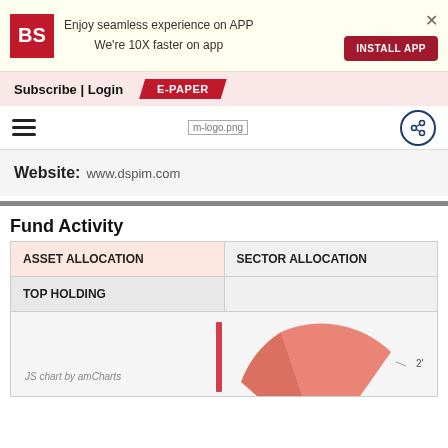[Figure (screenshot): App install banner with BS logo, text 'Enjoy seamless experience on APP We're 10X faster on app', INSTALL APP button, and X close button]
Subscribe | Login
E-PAPER
[Figure (logo): Hamburger menu icon and m-logo.png placeholder with share icon on the right]
Website: www.dspim.com
Fund Activity
| ASSET ALLOCATION | SECTOR ALLOCATION |
| --- | --- |
| TOP HOLDING |  |
[Figure (pie-chart): Partial pie/donut chart visible at bottom of page with salmon/coral color, labeled 'JS chart by amCharts'. A vertical bar chart stub also partially visible on the left side.]